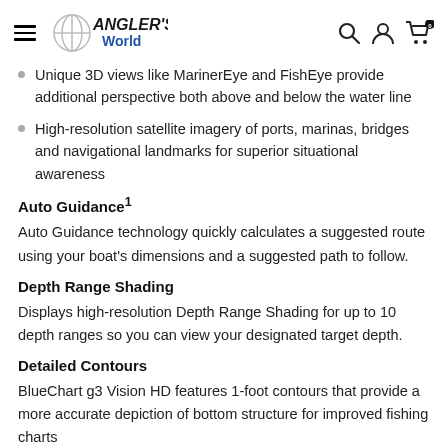ANGLER'S World
Unique 3D views like MarinerEye and FishEye provide additional perspective both above and below the water line
High-resolution satellite imagery of ports, marinas, bridges and navigational landmarks for superior situational awareness
Auto Guidance¹
Auto Guidance technology quickly calculates a suggested route using your boat's dimensions and a suggested path to follow.
Depth Range Shading
Displays high-resolution Depth Range Shading for up to 10 depth ranges so you can view your designated target depth.
Detailed Contours
BlueChart g3 Vision HD features 1-foot contours that provide a more accurate depiction of bottom structure for improved fishing charts